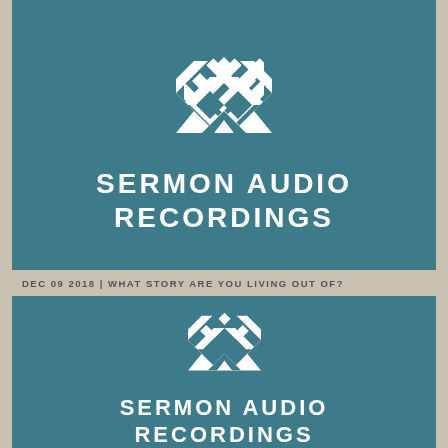[Figure (logo): Sermon Audio Recordings logo — geometric M-shaped pattern made of overlapping diagonal white rectangles on teal background, with text SERMON AUDIO RECORDINGS below]
DEC 09 2018 | WHAT STORY ARE YOU LIVING OUT OF?
[Figure (logo): Sermon Audio Recordings logo — same geometric M-shaped pattern made of overlapping diagonal white rectangles on teal background, with text SERMON AUDIO RECORDINGS below (partially cropped)]